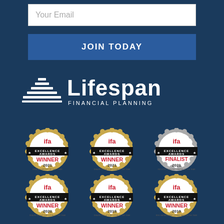Your Email
JOIN TODAY
[Figure (logo): Lifespan Financial Planning logo with pyramid icon and text]
[Figure (infographic): Six IFA Excellence Awards badges: Winner 2021 Dealer Group of the Year, Winner 2021 Dealer Group Executive of the Year, Finalist 2021 Industry Thought Leader of the Year, Winner 2020 Dealer Group Executive of the Year, Winner 2019 Dealer Group Executive of the Year, Winner 2019 Risk Management Consultant of the Year]